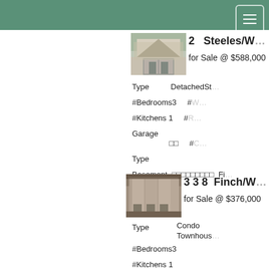Navigation header with hamburger menu
2  Steeles/W... for Sale @ $588,000
[Figure (photo): Photo of a detached house with garage]
Type  DetachedSt
#Bedrooms3  #W
#Kitchens 1  #R
Garage Type  □□  #C
Basement  □□□□□□□□□  Fi
3 3 8  Finch/W... for Sale @ $376,000
[Figure (photo): Photo of a condo townhouse building]
Type  Condo Townhous
#Bedrooms3
#Kitchens 1
Garage  □□